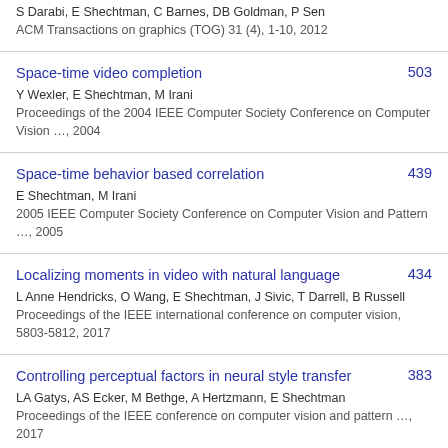S Darabi, E Shechtman, C Barnes, DB Goldman, P Sen
ACM Transactions on graphics (TOG) 31 (4), 1-10, 2012
Space-time video completion
Y Wexler, E Shechtman, M Irani
Proceedings of the 2004 IEEE Computer Society Conference on Computer Vision …, 2004
503
Space-time behavior based correlation
E Shechtman, M Irani
2005 IEEE Computer Society Conference on Computer Vision and Pattern …, 2005
439
Localizing moments in video with natural language
L Anne Hendricks, O Wang, E Shechtman, J Sivic, T Darrell, B Russell
Proceedings of the IEEE international conference on computer vision, 5803-5812, 2017
434
Controlling perceptual factors in neural style transfer
LA Gatys, AS Ecker, M Bethge, A Hertzmann, E Shechtman
Proceedings of the IEEE conference on computer vision and pattern …, 2017
383